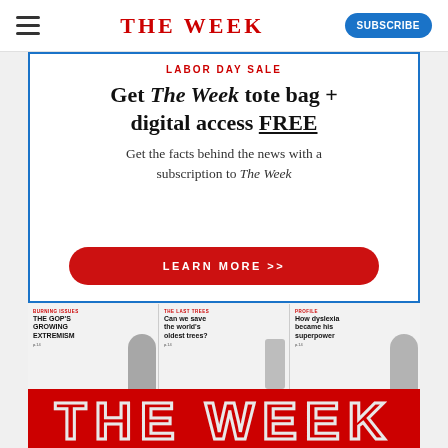THE WEEK
[Figure (infographic): Labor Day Sale advertisement for The Week magazine. Red headline 'LABOR DAY SALE', bold headline 'Get The Week tote bag + digital access FREE', subtext 'Get the facts behind the news with a subscription to The Week', red pill-shaped button 'LEARN MORE >>']
[Figure (illustration): The Week magazine cover strip showing three article panels: 'THE GOP'S GROWING EXTREMISM', 'Can we save the world's oldest tree?', 'How dyslexia became his superpower', with large red THE WEEK masthead at bottom]